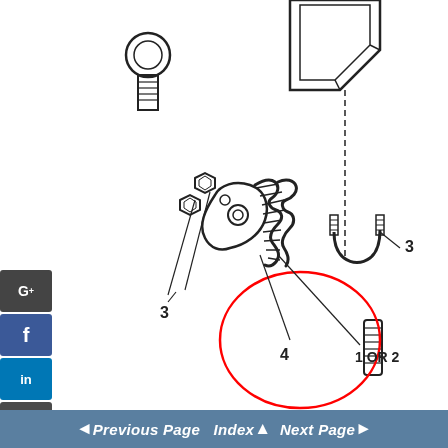[Figure (schematic): Engineering parts diagram showing mechanical components including bolts/screws (labeled 3), a spring/coil assembly (labeled 1 OR 2), a bracket/clamp part (labeled 4, highlighted with red circle), and a structural channel/bracket in the upper right. Part numbers 3, 4, 1 OR 2, and 3 are annotated with leader lines.]
◄ Previous Page  Index ▲  Next Page ►